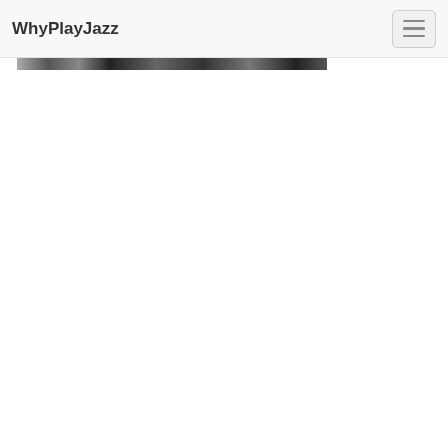WhyPlayJazz
[Figure (photo): Partial view of a black and white photograph, cropped at the top of the page below the navigation bar]